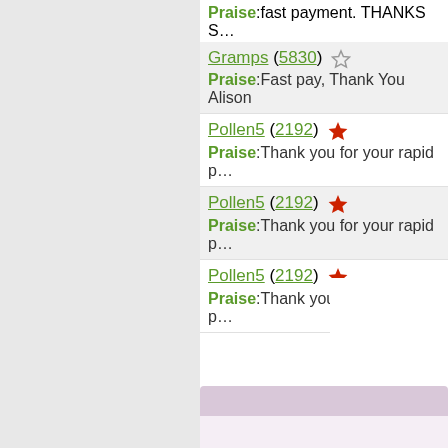Praise:fast payment. THANKS S...
Gramps (5830) [star outline] Praise:Fast pay, Thank You Alison
Pollen5 (2192) [red star] Praise:Thank you for your rapid p...
Pollen5 (2192) [red star] Praise:Thank you for your rapid p...
Pollen5 (2192) [red star] Praise:Thank you for your rapid p...
[ My... [ Add ...
[ S... [ All...